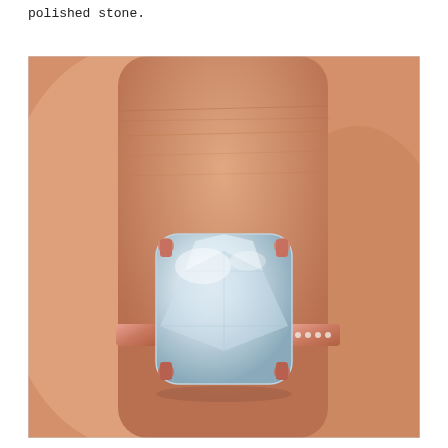polished stone.
[Figure (photo): Close-up photograph of a cushion-cut white/light gemstone ring set in rose gold with diamond-studded band, worn on a finger.]